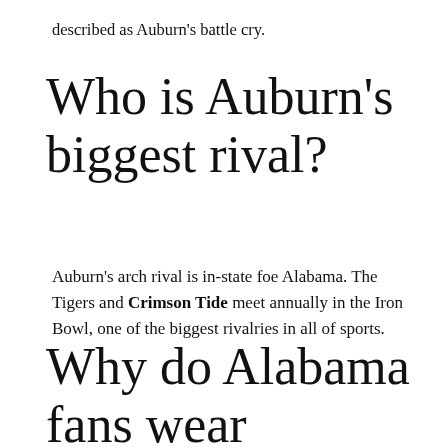described as Auburn's battle cry.
Who is Auburn's biggest rival?
Auburn's arch rival is in-state foe Alabama. The Tigers and Crimson Tide meet annually in the Iron Bowl, one of the biggest rivalries in all of sports.
Why do Alabama fans wear